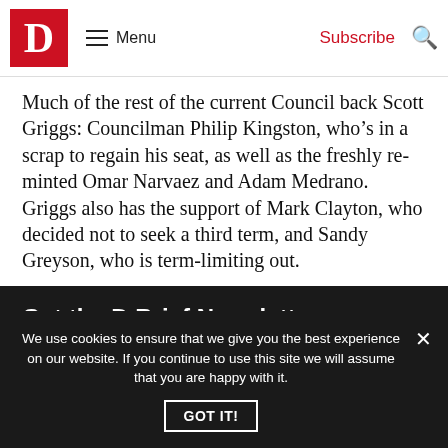D Menu Subscribe
Much of the rest of the current Council back Scott Griggs: Councilman Philip Kingston, who’s in a scrap to regain his seat, as well as the freshly re-minted Omar Narvaez and Adam Medrano. Griggs also has the support of Mark Clayton, who decided not to seek a third term, and Sandy Greyson, who is term-limiting out.
Get the D Brief Newsletter
We use cookies to ensure that we give you the best experience on our website. If you continue to use this site we will assume that you are happy with it.
GOT IT!